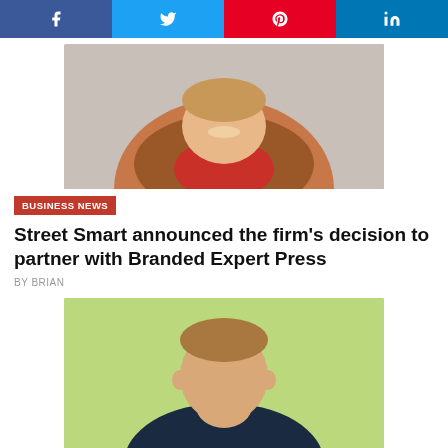[Figure (other): Social media share buttons bar: Facebook (blue), Twitter (blue), Pinterest (red), LinkedIn (blue)]
[Figure (photo): Headshot of smiling middle-aged man wearing brown jacket and red shirt, grey background]
BUSINESS NEWS
Street Smart announced the firm's decision to partner with Branded Expert Press
BY BRIAN
[Figure (photo): Headshot of young man in dark polo shirt, light green background]